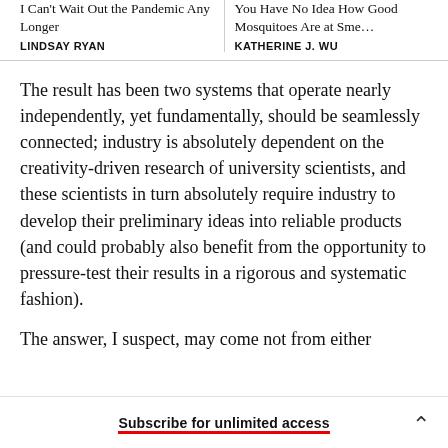I Can't Wait Out the Pandemic Any Longer
You Have No Idea How Good Mosquitoes Are at Smelling
LINDSAY RYAN
KATHERINE J. WU
The result has been two systems that operate nearly independently, yet fundamentally, should be seamlessly connected; industry is absolutely dependent on the creativity-driven research of university scientists, and these scientists in turn absolutely require industry to develop their preliminary ideas into reliable products (and could probably also benefit from the opportunity to pressure-test their results in a rigorous and systematic fashion).
The answer, I suspect, may come not from either
Subscribe for unlimited access